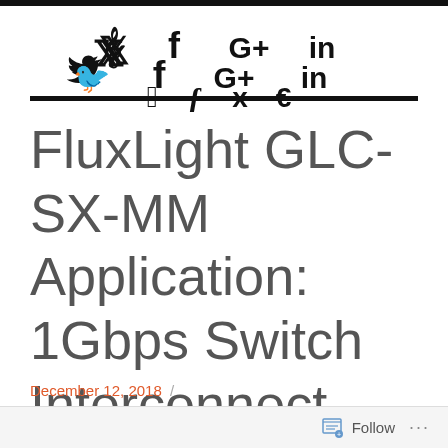[Figure (other): Social media icons: Twitter bird, Facebook f, Google+ G+, LinkedIn in]
FluxLight GLC-SX-MM Application: 1Gbps Switch Interconnect
December 12, 2018 /
Follow ...